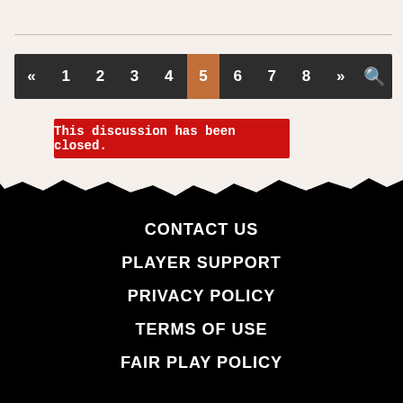[Figure (other): Pagination navigation bar with dark background showing page numbers «, 1, 2, 3, 4, 5 (active/highlighted in brown/orange), 6, 7, 8, », and a search icon]
This discussion has been closed.
[Figure (other): Torn paper edge decorative divider between light and dark sections]
CONTACT US
PLAYER SUPPORT
PRIVACY POLICY
TERMS OF USE
FAIR PLAY POLICY